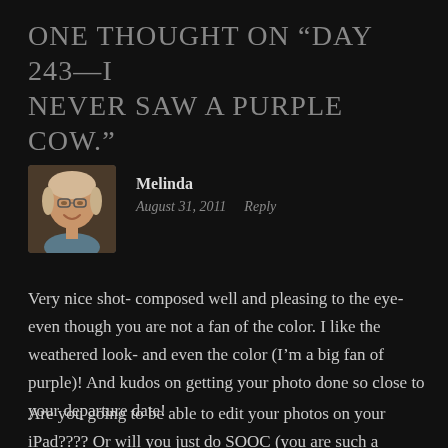ONE THOUGHT ON “DAY 243—I NEVER SAW A PURPLE COW.”
[Figure (photo): Avatar photo of Melinda, a smiling woman with glasses and short blonde hair]
Melinda
August 31, 2011   Reply
Very nice shot- composed well and pleasing to the eye- even though you are not a fan of the color. I like the weathered look- and even the color (I’m a big fan of purple)! And kudos on getting your photo done so close to your departure date!
Are you going to be able to edit your photos on your iPad???? Or will you just do SOOC (you are such a